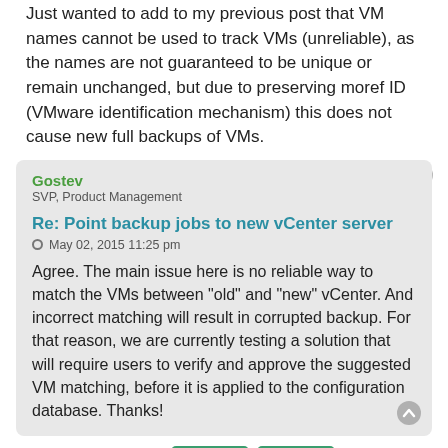Just wanted to add to my previous post that VM names cannot be used to track VMs (unreliable), as the names are not guaranteed to be unique or remain unchanged, but due to preserving moref ID (VMware identification mechanism) this does not cause new full backups of VMs.
Gostev
SVP, Product Management
Re: Point backup jobs to new vCenter server
May 02, 2015 11:25 pm
Agree. The main issue here is no reliable way to match the VMs between "old" and "new" vCenter. And incorrect matching will result in corrupted backup. For that reason, we are currently testing a solution that will require users to verify and approve the suggested VM matching, before it is applied to the configuration database. Thanks!
19 posts • Page 1 of 1